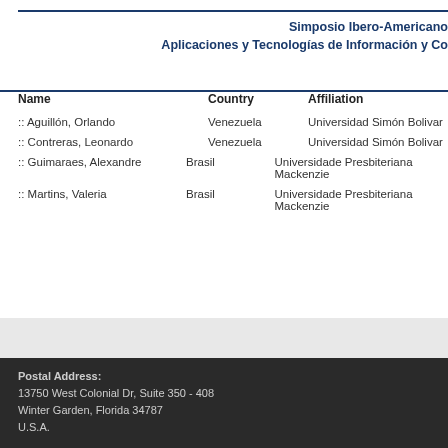Simposio Ibero-Americano de Aplicaciones y Tecnologías de Información y Co
| Name | Country | Affiliation |
| --- | --- | --- |
| :: Aguillón, Orlando | Venezuela | Universidad Simón Bolivar |
| :: Contreras, Leonardo | Venezuela | Universidad Simón Bolivar |
| :: Guimaraes, Alexandre | Brasil | Universidade Presbiteriana Mackenzie |
| :: Martins, Valeria | Brasil | Universidade Presbiteriana Mackenzie |
Postal Address:
13750 West Colonial Dr, Suite 350 - 408
Winter Garden, Florida 34787
U.S.A.